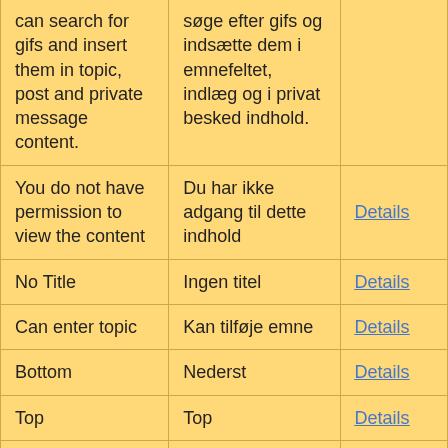| English | Danish | Link |
| --- | --- | --- |
| can search for gifs and insert them in topic, post and private message content. | søge efter gifs og indsætte dem i emnefeltet, indlæg og i privat besked indhold. |  |
| You do not have permission to view the content | Du har ikke adgang til dette indhold | Details |
| No Title | Ingen titel | Details |
| Can enter topic | Kan tilføje emne | Details |
| Bottom | Nederst | Details |
| Top | Top | Details |
| Forum SEO Description | Forum SEO Beskrivelse: | Details |